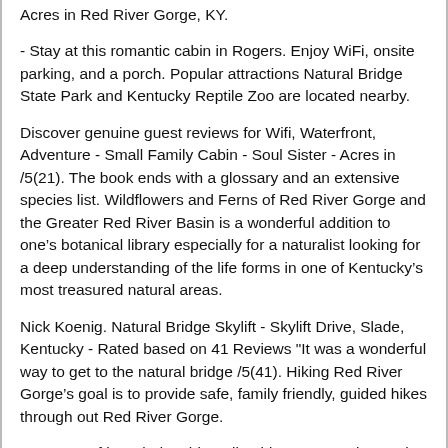Acres in Red River Gorge, KY.
- Stay at this romantic cabin in Rogers. Enjoy WiFi, onsite parking, and a porch. Popular attractions Natural Bridge State Park and Kentucky Reptile Zoo are located nearby.
Discover genuine guest reviews for Wifi, Waterfront, Adventure - Small Family Cabin - Soul Sister - Acres in /5(21). The book ends with a glossary and an extensive species list. Wildflowers and Ferns of Red River Gorge and the Greater Red River Basin is a wonderful addition to one’s botanical library especially for a naturalist looking for a deep understanding of the life forms in one of Kentucky’s most treasured natural areas.
Nick Koenig. Natural Bridge Skylift - Skylift Drive, Slade, Kentucky - Rated based on 41 Reviews "It was a wonderful way to get to the natural bridge /5(41). Hiking Red River Gorge’s goal is to provide safe, family friendly, guided hikes through out Red River Gorge.
Our team of knowledgeable trail guides want to give each of our clients an experience to remember.